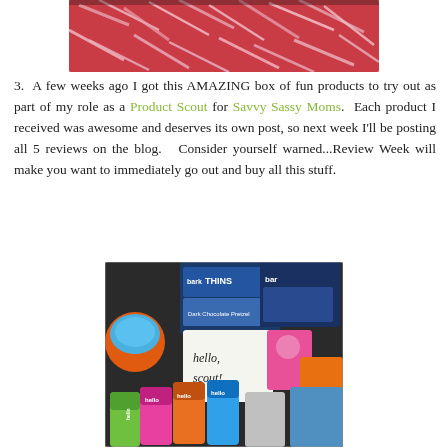[Figure (photo): Top portion of a photo showing pink shredded paper filler in a box]
3.  A few weeks ago I got this AMAZING box of fun products to try out as part of my role as a Product Scout for Savvy Sassy Moms.  Each product I received was awesome and deserves its own post, so next week I'll be posting all 5 reviews on the blog.  Consider yourself warned...Review Week will make you want to immediately go out and buy all this stuff.
[Figure (photo): Photo of a scout box containing barkTHINS chocolate products, hello toothpaste tubes in pink/orange/blue/green, a 'hello, scout!' handwritten card, and other beauty/snack products]